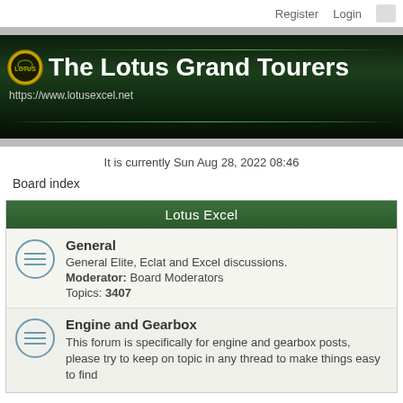Register  Login
[Figure (logo): The Lotus Grand Tourers banner with Lotus logo, title 'The Lotus Grand Tourers' and URL https://www.lotusexcel.net on dark green background]
It is currently Sun Aug 28, 2022 08:46
Board index
Lotus Excel
General
General Elite, Eclat and Excel discussions.
Moderator: Board Moderators
Topics: 3407
Engine and Gearbox
This forum is specifically for engine and gearbox posts, please try to keep on topic in any thread to make things easy to find